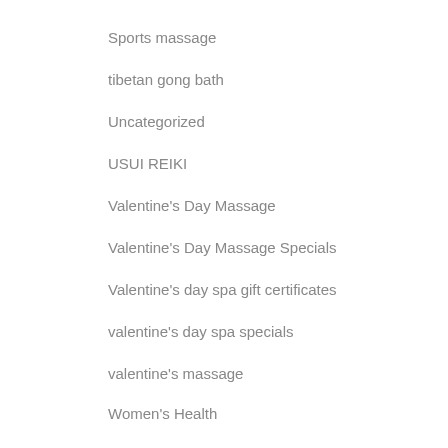Sports massage
tibetan gong bath
Uncategorized
USUI REIKI
Valentine's Day Massage
Valentine's Day Massage Specials
Valentine's day spa gift certificates
valentine's day spa specials
valentine's massage
Women's Health
Year of the rat